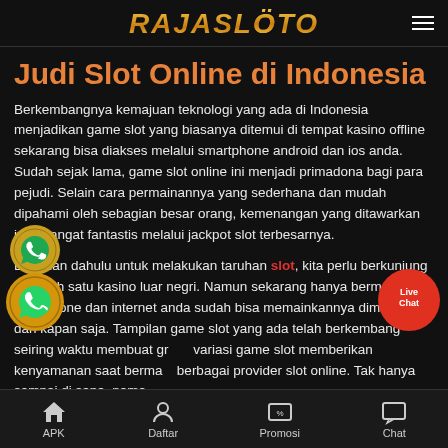RAJASLOTO
Judi Slot Online di Indonesia
Berkembangnya kemajuan teknologi yang ada di Indonesia menjadikan game slot yang biasanya ditemui di tempat kasino offline sekarang bisa diakses melalui smartphone android dan ios anda. Sudah sejak lama, game slot online ini menjadi primadona bagi para pejudi. Selain cara permainannya yang sederhana dan mudah dipahami oleh sebagian besar orang, kemenangan yang ditawarkan juga sangat fantastis melalui jackpot slot terbesarnya.
Dizaman dahulu untuk melakukan taruhan slot, kita perlu berkunjung ke salah satu kasino luar negri. Namun sekarang hanya bermodalkan handphone dan internet anda sudah bisa memainkannya dimana saja dan kapan saja. Tampilan game slot yang ada telah berkembang seiring waktu membuat grafik dan variasi game slot memberikan kenyamanan saat bermain berbagai provider slot online. Tak hanya sampai di sana, nama
APK   Daftar   Promosi   Chat